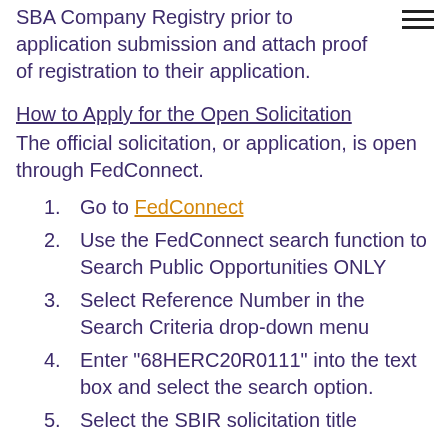SBA Company Registry prior to application submission and attach proof of registration to their application.
How to Apply for the Open Solicitation
The official solicitation, or application, is open through FedConnect.
1. Go to FedConnect
2. Use the FedConnect search function to Search Public Opportunities ONLY
3. Select Reference Number in the Search Criteria drop-down menu
4. Enter "68HERC20R0111" into the text box and select the search option.
5. Select the SBIR solicitation title with Reference Number...